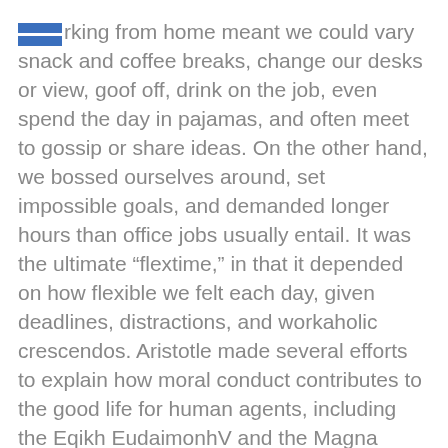Working from home meant we could vary snack and coffee breaks, change our desks or view, goof off, drink on the job, even spend the day in pajamas, and often meet to gossip or share ideas. On the other hand, we bossed ourselves around, set impossible goals, and demanded longer hours than office jobs usually entail. It was the ultimate “flextime,” in that it depended on how flexible we felt each day, given deadlines, distractions, and workaholic crescendos. Aristotle made several efforts to explain how moral conduct contributes to the good life for human agents, including the Eqikh EudaimonhV and the Magna Moralia, but the most complete surviving statement of his views on morality occurs in the Eqikh Nikomacoi . Successful people ask better questions. But on Aristotle’s view, the lives of individual human beings in some way individual to others social